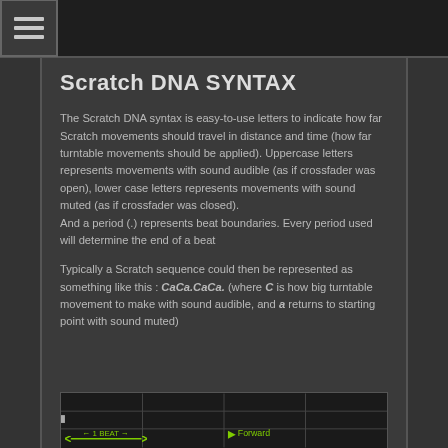☰
Scratch DNA SYNTAX
The Scratch DNA syntax is easy-to-use letters to indicate how far Scratch movements should travel in distance and time (how far turntable movements should be applied). Uppercase letters represents movements with sound audible (as if crossfader was open), lower case letters represents movements with sound muted (as if crossfader was closed).
And a period (.) represents beat boundaries. Every period used will determine the end of a beat
Typically a Scratch sequence could then be represented as something like this : CaCa.CaCa. (where C is how big turntable movement to make with sound audible, and a returns to starting point with sound muted)
[Figure (other): Bottom portion of a diagram showing a beat grid with '1 BEAT' arrow label and 'Forward' label, dark background with grid lines]